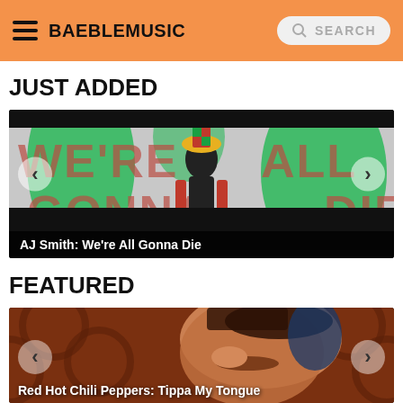BAEBLEMUSIC | SEARCH
JUST ADDED
[Figure (screenshot): Music video thumbnail for 'We're All Gonna Die' by AJ Smith, showing stylized text 'WE'RE ALL GONNA DIE' with a figure in the center, navigation arrows on left and right]
AJ Smith: We're All Gonna Die
FEATURED
[Figure (screenshot): Music video thumbnail for Red Hot Chili Peppers 'Tippa My Tongue', showing a close-up of a person's face with an ornate patterned background, navigation arrows on left and right]
Red Hot Chili Peppers: Tippa My Tongue